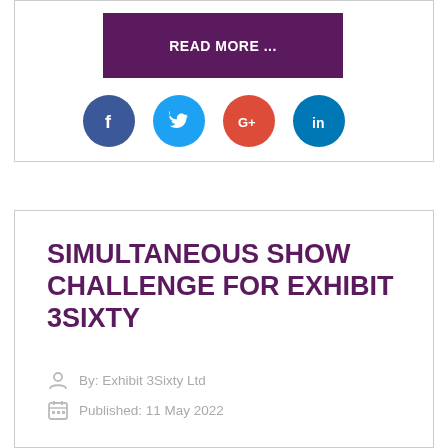READ MORE ...
[Figure (other): Social media icons: Facebook, Twitter, Google+, LinkedIn]
SIMULTANEOUS SHOW CHALLENGE FOR EXHIBIT 3SIXTY
By: Exhibit 3Sixty Ltd
Published: 11 May 2022
Exhibit 3Sixty was expecting a busy Q2 2022, and so when the Furniture Show was postponed from January to April, the Coventry-